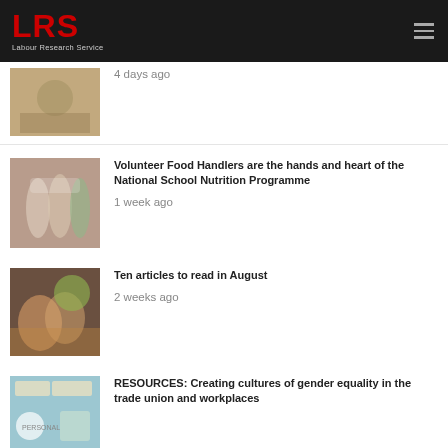LRS Labour Research Service
4 days ago
Volunteer Food Handlers are the hands and heart of the National School Nutrition Programme
1 week ago
Ten articles to read in August
2 weeks ago
RESOURCES: Creating cultures of gender equality in the trade union and workplaces